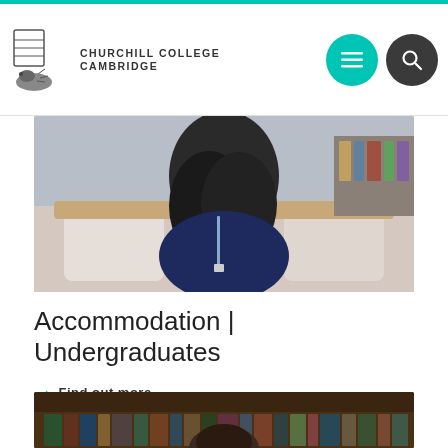Churchill College Cambridge
[Figure (photo): A student with long brown hair and a lanyard sitting on a bed reading, in a college accommodation room]
Accommodation | Undergraduates
→ Find out more
[Figure (photo): A student with curly hair sitting in front of a bookshelf]